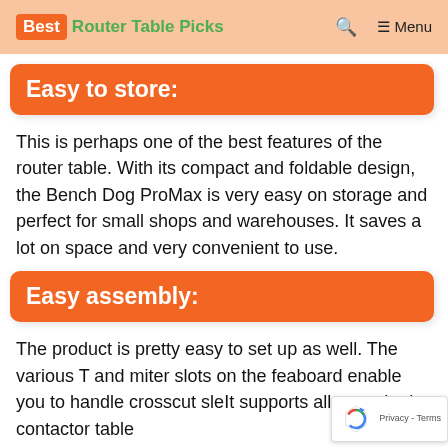Best Router Table Picks — Search — Menu
Easy to store:
This is perhaps one of the best features of the router table. With its compact and foldable design, the Bench Dog ProMax is very easy on storage and perfect for small shops and warehouses. It saves a lot on space and very convenient to use.
Easy assembly:
The product is pretty easy to set up as well. The various T and miter slots on the fea board enable you to handle crosscut sle It supports all types both contactor table